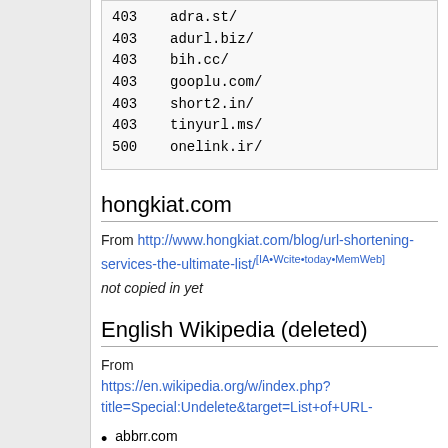| Status | URL |
| --- | --- |
| 403 | adra.st/ |
| 403 | adurl.biz/ |
| 403 | bih.cc/ |
| 403 | gooplu.com/ |
| 403 | short2.in/ |
| 403 | tinyurl.ms/ |
| 500 | onelink.ir/ |
hongkiat.com
From http://www.hongkiat.com/blog/url-shortening-services-the-ultimate-list/[IA•Wcite•today•MemWeb]
not copied in yet
English Wikipedia (deleted)
From https://en.wikipedia.org/w/index.php?title=Special:Undelete&target=List+of+URL-
abbrr.com